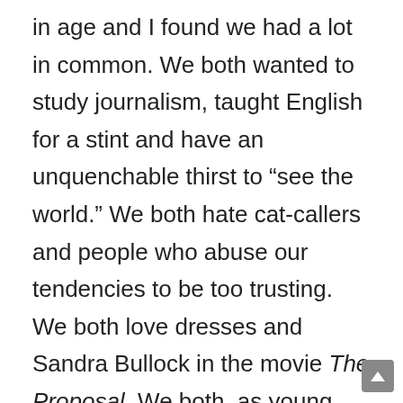in age and I found we had a lot in common. We both wanted to study journalism, taught English for a stint and have an unquenchable thirst to “see the world.” We both hate cat-callers and people who abuse our tendencies to be too trusting. We both love dresses and Sandra Bullock in the movie The Proposal. We both, as young women in 2015, want our voices to be heard, although we aren’t always sure the best way for this to happen in the confusing world we now live in.

I may not have found love in Cuba (I’m officially adding it to the long list of countries where my Before Sunrise fantasies did not come true), but in Yaniet I definitely found a potential Cuban BFF. And she taught